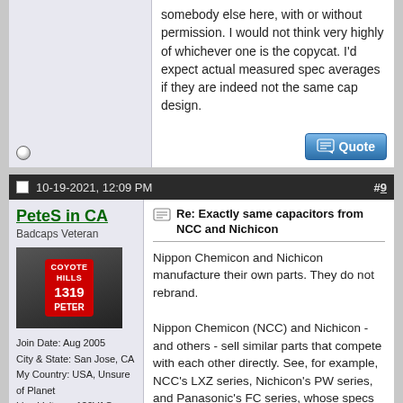somebody else here, with or without permission. I would not think very highly of whichever one is the copycat. I'd expect actual measured spec averages if they are indeed not the same cap design.
10-19-2021, 12:09 PM  #9
PeteS in CA
Badcaps Veteran
Join Date: Aug 2005
City & State: San Jose, CA
My Country: USA, Unsure of Planet
Line Voltage: 120VAC, 60Hz & 115VAC, 400Hz
I'm a: Professional Tech
Posts: 3,402
Re: Exactly same capacitors from NCC and Nichicon
Nippon Chemicon and Nichicon manufacture their own parts. They do not rebrand.

Nippon Chemicon (NCC) and Nichicon - and others - sell similar parts that compete with each other directly. See, for example, NCC's LXZ series, Nichicon's PW series, and Panasonic's FC series, whose specs are extremely similar. This is just ordinary normal head to head.